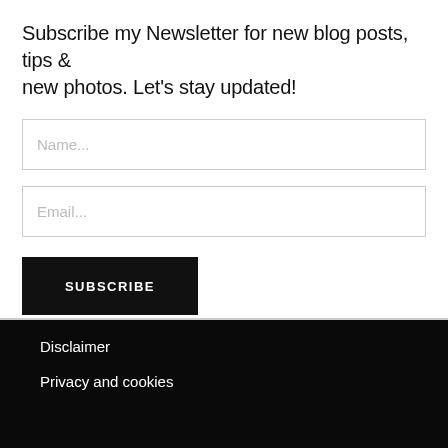Subscribe my Newsletter for new blog posts, tips & new photos. Let's stay updated!
Name...
Email...
SUBSCRIBE
Disclaimer
Privacy and cookies